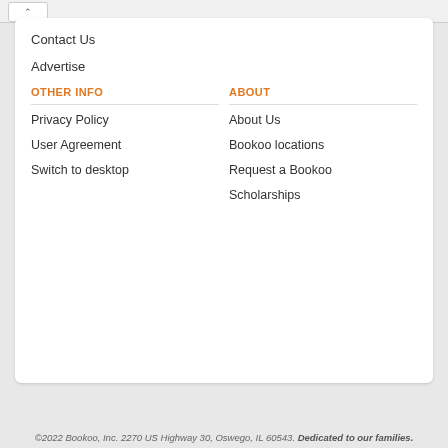Contact Us
Advertise
OTHER INFO
ABOUT
Privacy Policy
About Us
User Agreement
Bookoo locations
Switch to desktop
Request a Bookoo
Scholarships
©2022 Bookoo, Inc. 2270 US Highway 30, Oswego, IL 60543. Dedicated to our families.